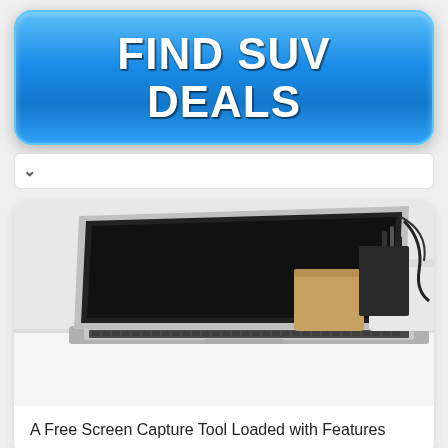[Figure (other): Blue glossy button/banner with bold white text reading FIND SUV DEALS]
[Figure (other): Navigation bar with chevron up arrow and partially visible text]
[Figure (photo): Photo of a MacBook laptop on a white desk with desk organizers in the background]
A Free Screen Capture Tool Loaded with Features
[Figure (photo): Partially visible second card with desk/office items photo]